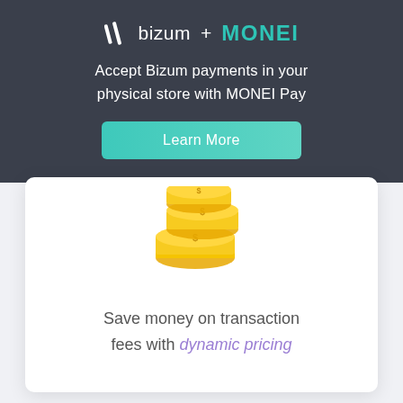[Figure (logo): Bizum + MONEI logo lockup on dark background banner]
Accept Bizum payments in your physical store with MONEI Pay
[Figure (other): Learn More button (teal gradient)]
[Figure (illustration): Stack of gold coins illustration]
Save money on transaction fees with dynamic pricing
[Figure (other): Purple circular help/question mark button]